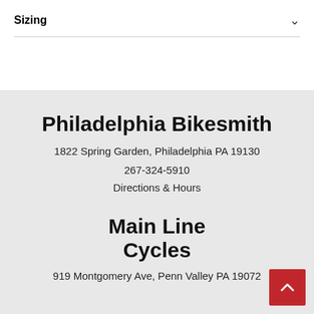Sizing
Philadelphia Bikesmith
1822 Spring Garden, Philadelphia PA 19130
267-324-5910
Directions & Hours
Main Line Cycles
919 Montgomery Ave, Penn Valley PA 19072